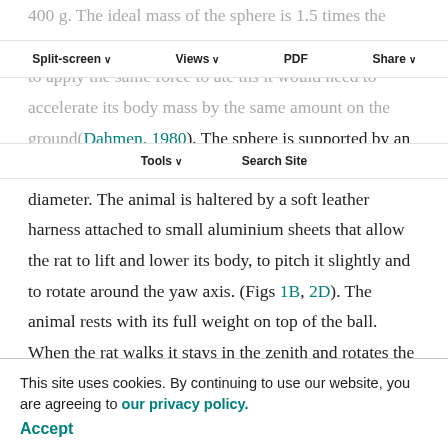400 g. The ideal mass of the sphere is 1.5 times the mass of the animal. In this case the haltered animal has to apply the same force to accelerate the mass as it would need to accelerate its body mass by the same amount on the ground(Dahmen, 1980). The sphere is supported by an air cushion in a half-spherical mould of 50.4 cm diameter. The animal is haltered by a soft leather harness attached to small aluminium sheets that allow the rat to lift and lower its body, to pitch it slightly and to rotate around the yaw axis. (Figs 1B, 2D). The animal rests with its full weight on top of the ball. When the rat walks it stays in the zenith and rotates the ball about a horizontal axis. The ball is prevented from rotation around the vertical axis but can easly be rotated around any horizontal axis. This is accomplished by slightly tilting the half-spherical mould (by about 7°). The polystyrene sphere is slightly pressed
Split-screen | Views | PDF | Share | Tools | Search Site
This site uses cookies. By continuing to use our website, you are agreeing to our privacy policy. Accept